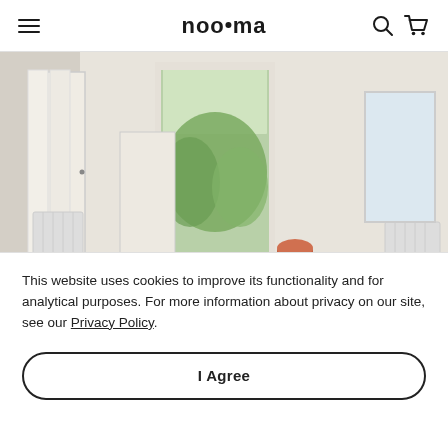noo.ma
[Figure (photo): Interior room with white walls, open French door to garden, scattered round fabric poufs/ottomans in various colors including grey, orange, dark green, and charcoal on a wooden floor. White folding screen on left, radiators visible.]
This website uses cookies to improve its functionality and for analytical purposes. For more information about privacy on our site, see our Privacy Policy.
I Agree